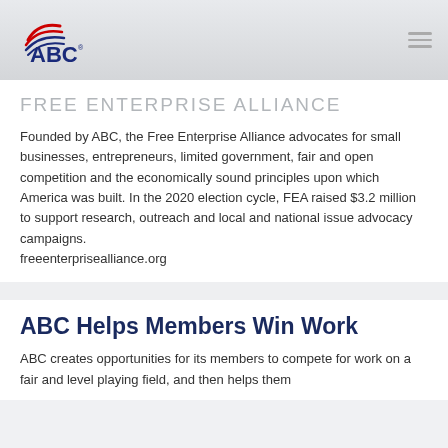[Figure (logo): ABC Associated Builders and Contractors logo with American flag motif]
FREE ENTERPRISE ALLIANCE
Founded by ABC, the Free Enterprise Alliance advocates for small businesses, entrepreneurs, limited government, fair and open competition and the economically sound principles upon which America was built. In the 2020 election cycle, FEA raised $3.2 million to support research, outreach and local and national issue advocacy campaigns.
freeenterprisealliance.org
ABC Helps Members Win Work
ABC creates opportunities for its members to compete for work on a fair and level playing field, and then helps them